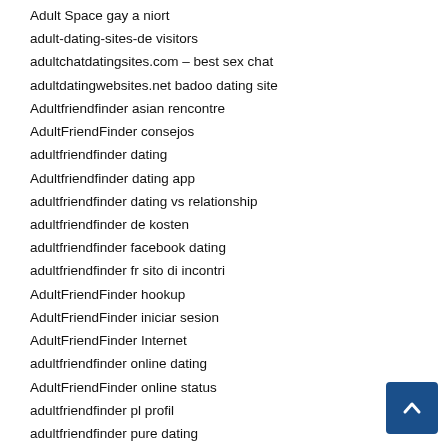Adult Space gay a niort
adult-dating-sites-de visitors
adultchatdatingsites.com – best sex chat
adultdatingwebsites.net badoo dating site
Adultfriendfinder asian rencontre
AdultFriendFinder consejos
adultfriendfinder dating
Adultfriendfinder dating app
adultfriendfinder dating vs relationship
adultfriendfinder de kosten
adultfriendfinder facebook dating
adultfriendfinder fr sito di incontri
AdultFriendFinder hookup
AdultFriendFinder iniciar sesion
AdultFriendFinder Internet
adultfriendfinder online dating
AdultFriendFinder online status
adultfriendfinder pl profil
adultfriendfinder pure dating
adultfriendfinder reddit
adultfriendfinder review
adultfriendfinder reviews
AdultFriendFinder support
AdultFriendFinder username